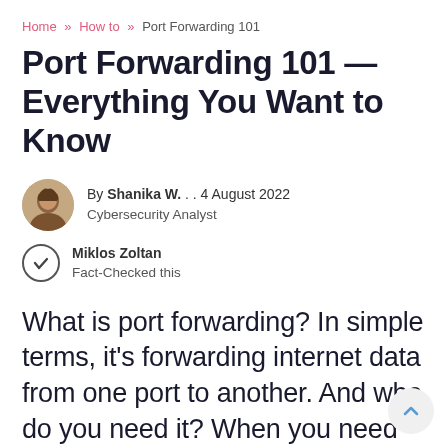Home » How to » Port Forwarding 101
Port Forwarding 101 — Everything You Want to Know
By Shanika W. . . 4 August 2022
Cybersecurity Analyst
Miklos Zoltan
Fact-Checked this
What is port forwarding? In simple terms, it's forwarding internet data from one port to another. And whe do you need it? When you need to